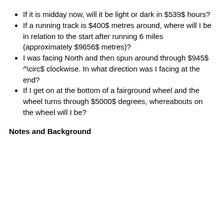If it is midday now, will it be light or dark in $539$ hours?
If a running track is $400$ metres around, where will I be in relation to the start after running 6 miles (approximately $9656$ metres)?
I was facing North and then spun around through $945^\circ$ clockwise. In what direction was I facing at the end?
If I get on at the bottom of a fairground wheel and the wheel turns through $5000$ degrees, whereabouts on the wheel will I be?
Notes and Background